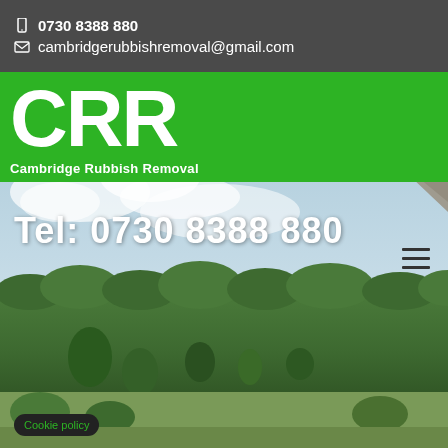0730 8388 880
cambridgerubbishremoval@gmail.com
[Figure (logo): CRR Cambridge Rubbish Removal logo on green background]
[Figure (photo): Background outdoor photo showing hedges, trees, and sky with a grey triangular awning]
Tel: 0730 8388 880
Cookie policy